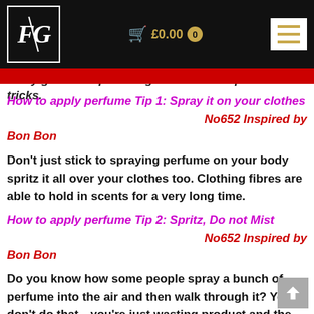FG logo | £0.00 0 | menu
really good. Keep reading for all of the tips and tricks.
How to apply perfume Tip 1: Spray it on your clothes
No652 Inspired by Bon Bon
Don't just stick to spraying perfume on your body spritz it all over your clothes too. Clothing fibres are able to hold in scents for a very long time.
How to apply perfume Tip 2: Spritz, Do not Mist
No652 Inspired by Bon Bon
Do you know how some people spray a bunch of perfume into the air and then walk through it? Yeah, don't do that—you're just wasting product and the scent